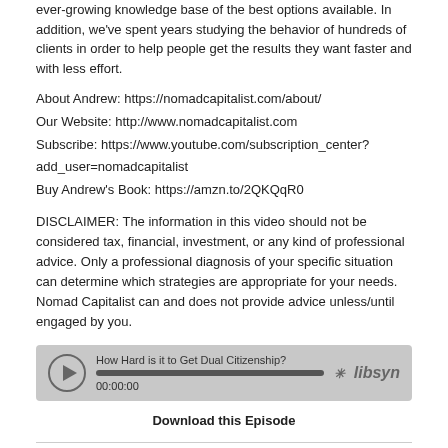ever-growing knowledge base of the best options available. In addition, we've spent years studying the behavior of hundreds of clients in order to help people get the results they want faster and with less effort.
About Andrew: https://nomadcapitalist.com/about/
Our Website: http://www.nomadcapitalist.com
Subscribe: https://www.youtube.com/subscription_center?add_user=nomadcapitalist
Buy Andrew's Book: https://amzn.to/2QKQqR0
DISCLAIMER: The information in this video should not be considered tax, financial, investment, or any kind of professional advice. Only a professional diagnosis of your specific situation can determine which strategies are appropriate for your needs. Nomad Capitalist can and does not provide advice unless/until engaged by you.
[Figure (other): Libsyn audio player widget showing episode 'How Hard is it to Get Dual Citizenship?' with progress bar and timestamp 00:00:00]
Download this Episode
The World's 6 Fastest Improving Free Econ...
Dec 16, 2020